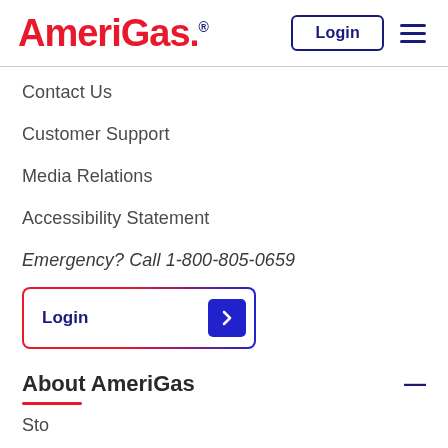AmeriGas. Login [menu]
Contact Us
Customer Support
Media Relations
Accessibility Statement
Emergency? Call 1-800-805-0659
Login
About AmeriGas
Sto